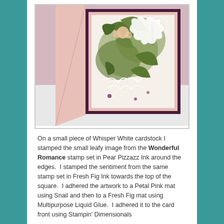[Figure (photo): A handmade greeting card displayed in A-frame style on a white surface. The card features floral and botanical artwork with green leaves, peach flowers, and purple accents on a light background, mounted with a dark purple/fresh fig mat and a petal pink outer card.]
On a small piece of Whisper White cardstock I stamped the small leafy image from the Wonderful Romance stamp set in Pear Pizzazz Ink around the edges.  I stamped the sentiment from the same stamp set in Fresh Fig Ink towards the top of the square.  I adhered the artwork to a Petal Pink mat using Snail and then to a Fresh Fig mat using Multipurpose Liquid Glue.  I adhered it to the card front using Stampin' Dimensionals